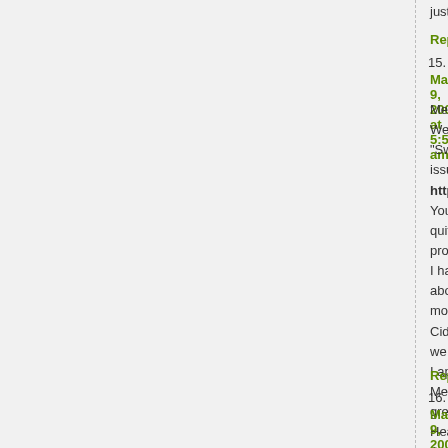just think of how much better I would be…
Reply
15. Anne says: May 9, 2009 at 5:53 am
Melissa,
Well, it has arrived:
"Swine Flu information", a leaflet issued b… the UK, http://www.direct.gov.uk/swine…
You and your commentators are quite rig… living. The only protection it can talk abou…
I have always felt that the NHS is about s… the media could also do more. However,…
Cid is right, it is embarrassing how we ha…
I appreciate the efforts you make, Meliss… foods. That, coupled with great humour f… in the world :).
Healthy and smiley greetings
Anne
Reply
16. Melissa says: May 9, 2009 at 12:53 pm
Lo,
I can totally relate to the sleep thing. Tha… eight hours in.
Reply
17. Melissa says: May 9, 2009 at 1:02 pm